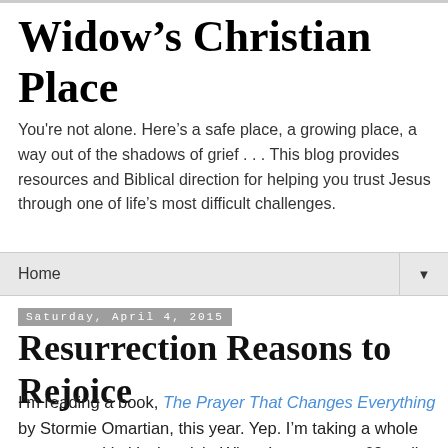Widow’s Christian Place
You're not alone. Here’s a safe place, a growing place, a way out of the shadows of grief . . . This blog provides resources and Biblical direction for helping you trust Jesus through one of life’s most difficult challenges.
Home
Saturday, April 4, 2015
Resurrection Reasons to Rejoice
I’m reading a book, The Prayer That Changes Everything by Stormie Omartian, this year. Yep. I’m taking a whole year to read it, it’s that rich. When I got to page 63 earlier this week I couldn’t help but connect it to Easter! These are seven amazing things we receive when we place our faith in Christ! The power of his blood for our forgiveness and the power of his resurrection for eternal life with him! I hope